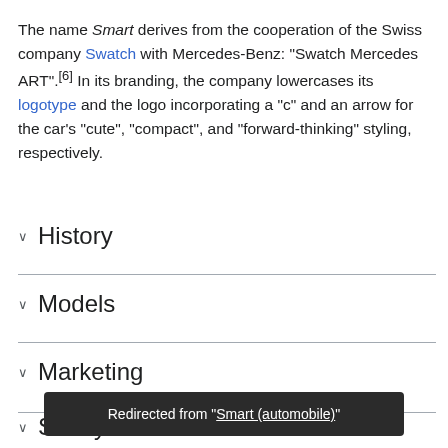The name Smart derives from the cooperation of the Swiss company Swatch with Mercedes-Benz: "Swatch Mercedes ART".[6] In its branding, the company lowercases its logotype and the logo incorporating a "c" and an arrow for the car's "cute", "compact", and "forward-thinking" styling, respectively.
History
Models
Marketing
Safety
Redirected from "Smart (automobile)"